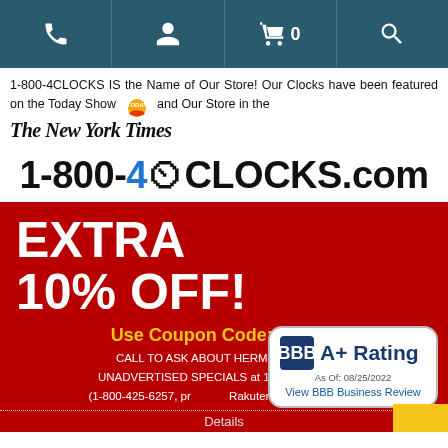[Figure (other): Navigation bar with phone, account, cart (0), and search icons on dark teal background]
1-800-4CLOCKS IS the Name of Our Store! Our Clocks have been featured on the Today Show and Our Store in the The New York Times
1-800-4CLOCKS.com
[Figure (infographic): Red promotional banner with EXTRA 10% OFF!, coupon code Take10, call to action text, and BBB A+ Rating badge]
Details